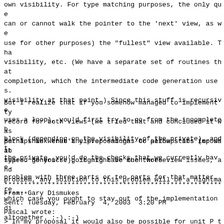own visibility. For type matching purposes, the only que
can or cannot walk the pointer to the 'next' view, as we
use for other purposes) the "fullest" view available. Tha
visibility, etc. (We have a separate set of routines tha
completion, which the intermediate code generation uses.
visibility at that point.) Since this stuff is recursive
uses a loop), you'd first try to go from the incomplete b
block (depending on the visibility of the private), and t
the private, you'd do the checks that we currently have.
problem with three parts or ten parts for that matter.
But I realize that if you somehow managed to implement ty
record for both views (we tried that and concluded it was
perhaps we weren't clever enough. Or perhaps its impossib
shared generics.), it might be much worse.
But I think that any proposal has to allow stubs (or what
types. So you're going to have the three view issues, and
problem, any solution to this problem will be a nightmare
which case you ought to stay out of the implementation de
altogether. :-) :-)
*************************************************************
From: Gary Dismukes
Sent: Tuesday, February  4, 2003  3:20 PM
Pascal wrote:
> In my proposal it would also be possible for unit P to
> I think we would want to forbid that, as it seems metho
> following the delete, it's implying that eit...